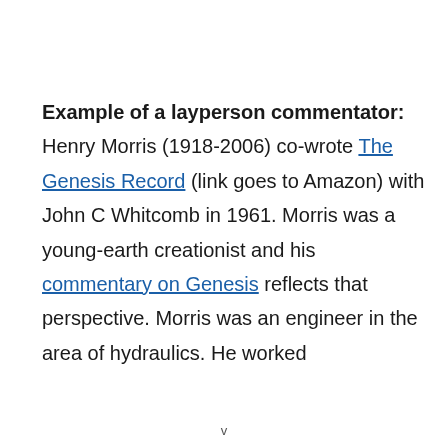Example of a layperson commentator: Henry Morris (1918-2006) co-wrote The Genesis Record (link goes to Amazon) with John C Whitcomb in 1961. Morris was a young-earth creationist and his commentary on Genesis reflects that perspective. Morris was an engineer in the area of hydraulics. He worked